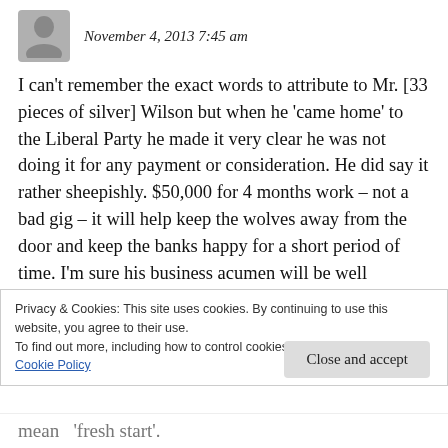November 4, 2013 7:45 am
I can't remember the exact words to attribute to Mr. [33 pieces of silver] Wilson but when he 'came home' to the Liberal Party he made it very clear he was not doing it for any payment or consideration. He did say it rather sheepishly. $50,000 for 4 months work – not a bad gig – it will help keep the wolves away from the door and keep the banks happy for a short period of time. I'm sure his business acumen will be well
Privacy & Cookies: This site uses cookies. By continuing to use this website, you agree to their use.
To find out more, including how to control cookies, see here:
Cookie Policy
Close and accept
mean  'fresh start'.